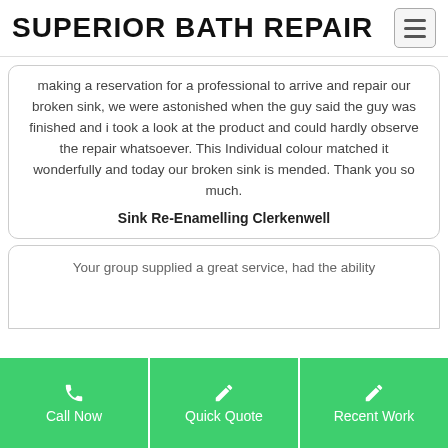SUPERIOR BATH REPAIR
making a reservation for a professional to arrive and repair our broken sink, we were astonished when the guy said the guy was finished and i took a look at the product and could hardly observe the repair whatsoever. This Individual colour matched it wonderfully and today our broken sink is mended. Thank you so much.
Sink Re-Enamelling Clerkenwell
Your group supplied a great service, had the ability
Call Now
Quick Quote
Recent Work